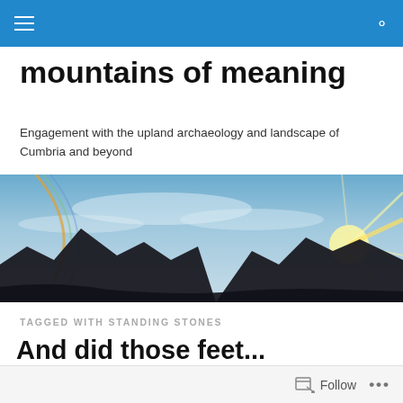mountains of meaning
mountains of meaning
Engagement with the upland archaeology and landscape of Cumbria and beyond
[Figure (photo): Wide panoramic landscape photo showing mountain silhouettes against a dramatic sky with sun rays and a rainbow arc on the left side]
TAGGED WITH STANDING STONES
And did those feet...
Follow